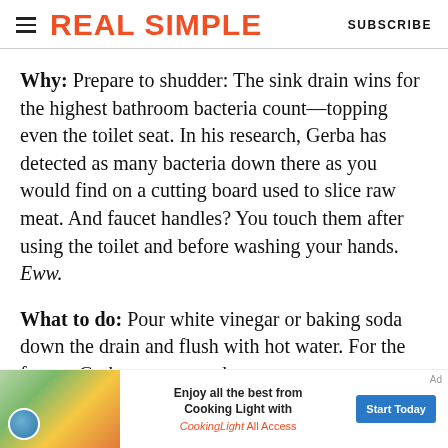REAL SIMPLE | SUBSCRIBE
Why: Prepare to shudder: The sink drain wins for the highest bathroom bacteria count—topping even the toilet seat. In his research, Gerba has detected as many bacteria down there as you would find on a cutting board used to slice raw meat. And faucet handles? You touch them after using the toilet and before washing your hands. Eww.
What to do: Pour white vinegar or baking soda down the drain and flush with hot water. For the faucet, Gerba recommends
[Figure (infographic): Advertisement banner for Cooking Light All Access: food photo on left, text 'Enjoy all the best from Cooking Light with CookingLight All Access', and 'Start Today' button on right.]